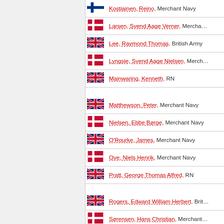Kostiainen, Reino, Merchant Navy (Finland)
Larsen, Svend Aage Verner, Merchant Navy (Denmark)
Lee, Raymond Thomas, British Army (UK)
Lyngsie, Svend Aage Nielsen, Merchant Navy (Denmark)
Mainwaring, Kenneth, RN (UK)
Matthewson, Peter, Merchant Navy (UK)
Nielsen, Ebbe Børge, Merchant Navy (Denmark)
O'Rourke, James, Merchant Navy (UK)
Ove, Niels Henrik, Merchant Navy (Denmark)
Pratt, George Thomas Alfred, RN (UK)
Rogers, Edward William Herbert, British Army (UK)
Sørensen, Hans Christian, Merchant Navy (Denmark)
Sørensen, Herman Frederik, Merchant Navy (Denmark)
Sørensen, Stig Olaf, Merchant Navy (Denmark)
Tahtinew, Erik, Merchant Navy (Finland)
Thompson, Francis Henry, Merchant Navy (UK)